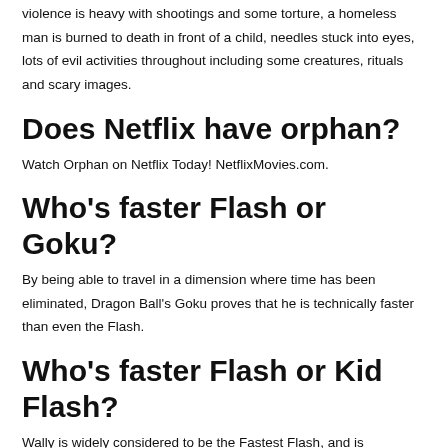violence is heavy with shootings and some torture, a homeless man is burned to death in front of a child, needles stuck into eyes, lots of evil activities throughout including some creatures, rituals and scary images.
Does Netflix have orphan?
Watch Orphan on Netflix Today! NetflixMovies.com.
Who's faster Flash or Goku?
By being able to travel in a dimension where time has been eliminated, Dragon Ball's Goku proves that he is technically faster than even the Flash.
Who's faster Flash or Kid Flash?
Wally is widely considered to be the Fastest Flash, and is